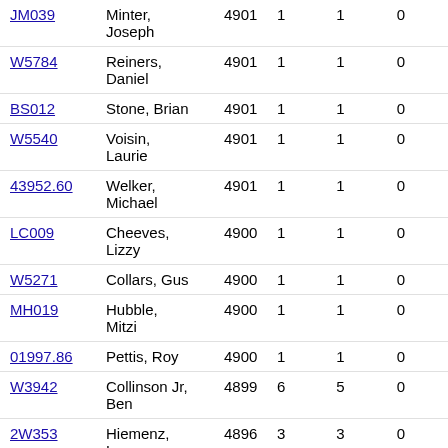| ID | Name | Col3 | Col4 | Col5 | Col6 | Col7 |
| --- | --- | --- | --- | --- | --- | --- |
| JM039 | Minter, Joseph | 4901 | 1 | 1 | 0 | 1 |
| W5784 | Reiners, Daniel | 4901 | 1 | 1 | 0 | 1 |
| BS012 | Stone, Brian | 4901 | 1 | 1 | 0 | 1 |
| W5540 | Voisin, Laurie | 4901 | 1 | 1 | 0 | 1 |
| 43952.60 | Welker, Michael | 4901 | 1 | 1 | 0 | 1 |
| LC009 | Cheeves, Lizzy | 4900 | 1 | 1 | 0 | 1 |
| W5271 | Collars, Gus | 4900 | 1 | 1 | 0 | 1 |
| MH019 | Hubble, Mitzi | 4900 | 1 | 1 | 0 | 1 |
| 01997.86 | Pettis, Roy | 4900 | 1 | 1 | 0 | 1 |
| W3942 | Collinson Jr, Ben | 4899 | 6 | 5 | 0 | 5 |
| 2W353 | Hiemenz, Lawrence | 4896 | 3 | 3 | 0 | 3 |